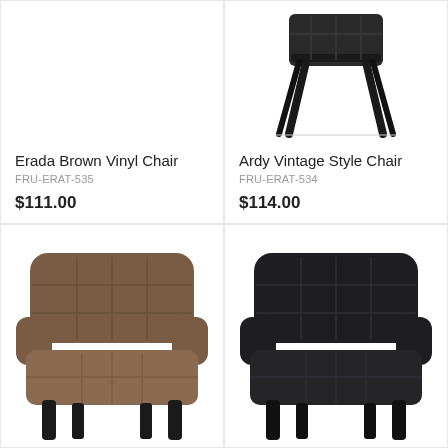[Figure (photo): Erada Brown Vinyl Chair product image - top portion cut off, mostly white space]
Erada Brown Vinyl Chair
FRU-ERAT-535
$111.00
[Figure (photo): Ardy Vintage Style Chair - black dining chair with angled metal legs, shown from slight angle]
Ardy Vintage Style Chair
FRU-ERAT-534
$114.00
[Figure (photo): Brown/taupe upholstered armchair with tufted seat and black legs, partially shown]
[Figure (photo): Black leather upholstered armchair with tufted back and black legs, partially shown]